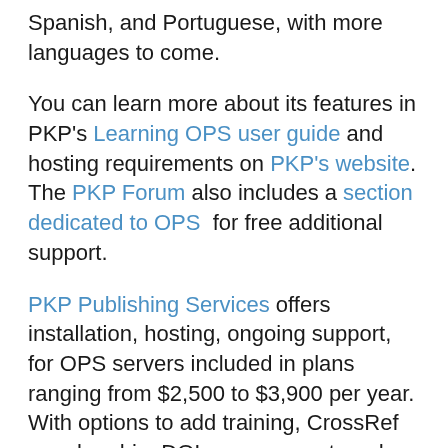Spanish, and Portuguese, with more languages to come.
You can learn more about its features in PKP's Learning OPS user guide and hosting requirements on PKP's website. The PKP Forum also includes a section dedicated to OPS for free additional support.
PKP Publishing Services offers installation, hosting, ongoing support, for OPS servers included in plans ranging from $2,500 to $3,900 per year. With options to add training, CrossRef membership, DOI management, and custom development. All revenue is used to fund the development of PKP's free and open-source software and services, which benefit the entire global scholarly community. Contact us